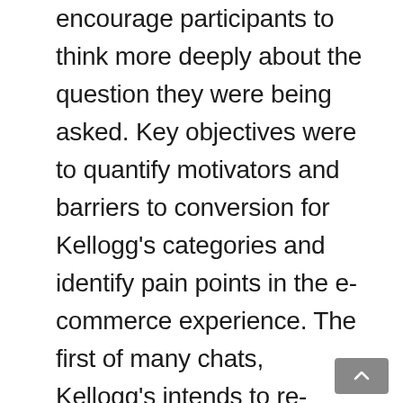encourage participants to think more deeply about the question they were being asked. Key objectives were to quantify motivators and barriers to conversion for Kellogg's categories and identify pain points in the e-commerce experience. The first of many chats, Kellogg's intends to re-engage these participants over time as an iterative research opportunity to learn about shopper habits, attitudes, and opinions as they continue to evolve.
The second phase was a digital safari and